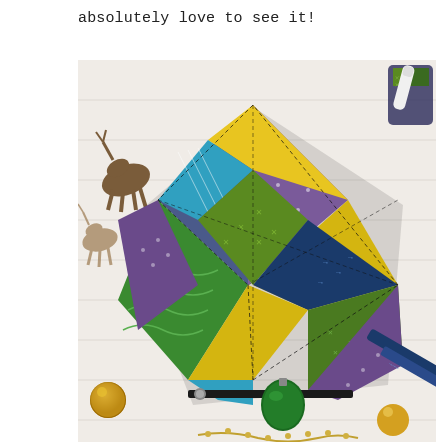absolutely love to see it!
[Figure (photo): A colorful patchwork quilted zipper pouch/wristlet made of triangular fabric pieces in purple, yellow, green, teal, navy with arrow and cross patterns, displayed on a white wood surface surrounded by decorative wooden reindeer figurines, gold ornaments, and holiday decorations.]